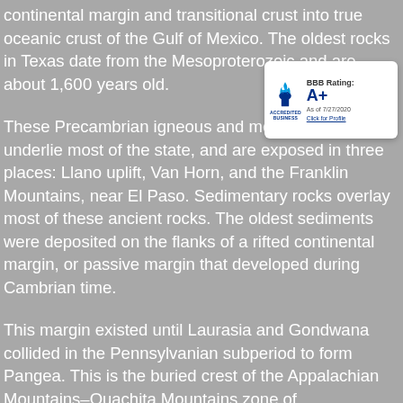continental margin and transitional crust into true oceanic crust of the Gulf of Mexico. The oldest rocks in Texas date from the Mesoproterozoic and are about 1,6[00] years old.
[Figure (logo): BBB Accredited Business badge showing BBB Rating: A+ as of 7/27/2020, Click for Profile]
These Precambrian igneous and metamorphic rocks underlie most of the state, and are exposed in three places: Llano uplift, Van Horn, and the Franklin Mountains, near El Paso. Sedimentary rocks overlay most of these ancient rocks. The oldest sediments were deposited on the flanks of a rifted continental margin, or passive margin that developed during Cambrian time.
This margin existed until Laurasia and Gondwana collided in the Pennsylvanian subperiod to form Pangea. This is the buried crest of the Appalachian Mountains–Ouachita Mountains zone of Pennsylvanian continental collision. This orogenic crest is today buried beneath the Dallas–Waco–